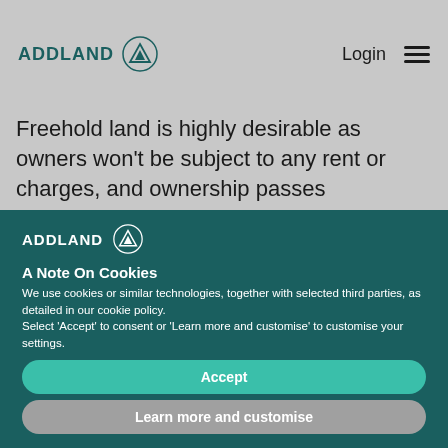ADDLAND | Login
Freehold land is highly desirable as owners won't be subject to any rent or charges, and ownership passes
[Figure (logo): Addland logo on dark teal background with circular A icon]
A Note On Cookies
We use cookies or similar technologies, together with selected third parties, as detailed in our cookie policy. Select 'Accept' to consent or 'Learn more and customise' to customise your settings.
Accept
Learn more and customise